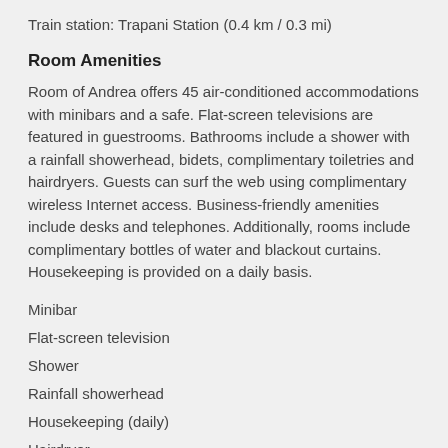Train station: Trapani Station (0.4 km / 0.3 mi)
Room Amenities
Room of Andrea offers 45 air-conditioned accommodations with minibars and a safe. Flat-screen televisions are featured in guestrooms. Bathrooms include a shower with a rainfall showerhead, bidets, complimentary toiletries and hairdryers. Guests can surf the web using complimentary wireless Internet access. Business-friendly amenities include desks and telephones. Additionally, rooms include complimentary bottles of water and blackout curtains. Housekeeping is provided on a daily basis.
Minibar
Flat-screen television
Shower
Rainfall showerhead
Housekeeping (daily)
Hairdryer
Safe
Toiletries (free)